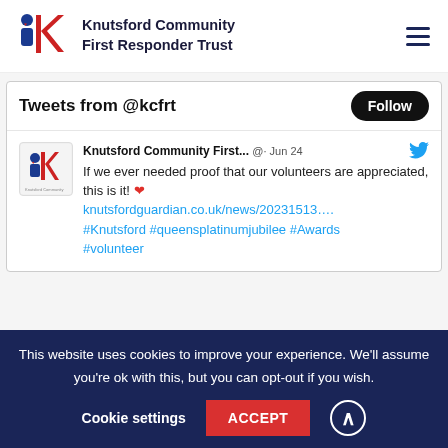[Figure (logo): Knutsford Community First Responder Trust logo with blue and red K icon and person silhouette]
Knutsford Community First Responder Trust
Tweets from @kcfrt
Knutsford Community First... @· Jun 24
If we ever needed proof that our volunteers are appreciated, this is it! ❤️
knutsfordguardian.co.uk/news/20231513….
#Knutsford #queensplatinumjubilee #Awards
#volunteer
This website uses cookies to improve your experience. We'll assume you're ok with this, but you can opt-out if you wish.
Cookie settings
ACCEPT